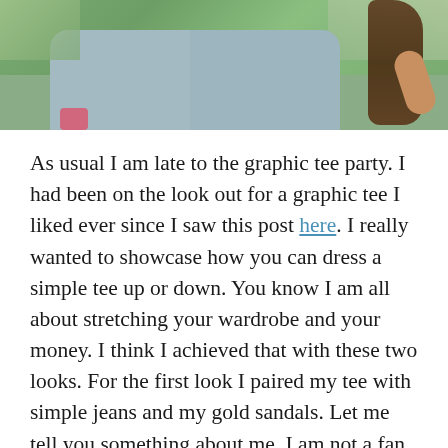[Figure (photo): Partial photo of a person wearing a grey graphic tee outdoors, with green foliage in background and long dark hair visible on right side.]
As usual I am late to the graphic tee party. I had been on the look out for a graphic tee I liked ever since I saw this post here. I really wanted to showcase how you can dress a simple tee up or down. You know I am all about stretching your wardrobe and your money. I think I achieved that with these two looks. For the first look I paired my tee with simple jeans and my gold sandals. Let me tell you something about me. I am not a fan of silver on myself. It looks pretty on other people but for me gold tones are usually my preference. It's all about taking what you love and making it work for you when it comes to style. You don't have to wear something you may not like